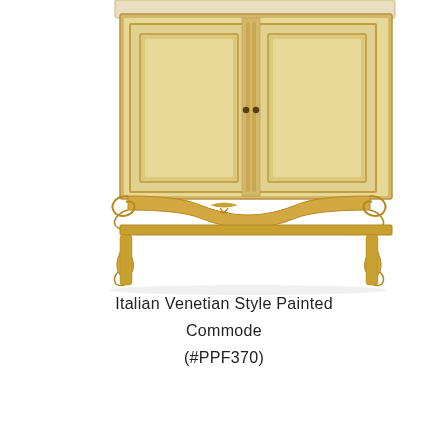[Figure (photo): A photograph of an Italian Venetian style painted commode, cream and gold colored with ornate carved scrollwork apron, two paneled cabinet doors with decorative molding, and cabriole legs. The piece is photographed against a white background, showing the top portion cropped.]
Italian Venetian Style Painted Commode (#PPF370)